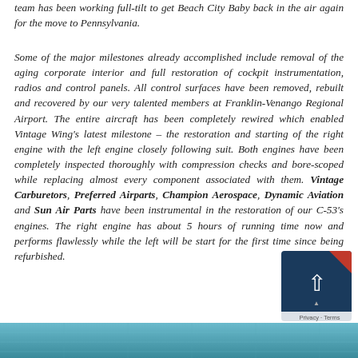team has been working full-tilt to get Beach City Baby back in the air again for the move to Pennsylvania.
Some of the major milestones already accomplished include removal of the aging corporate interior and full restoration of cockpit instrumentation, radios and control panels. All control surfaces have been removed, rebuilt and recovered by our very talented members at Franklin-Venango Regional Airport. The entire aircraft has been completely rewired which enabled Vintage Wing's latest milestone – the restoration and starting of the right engine with the left engine closely following suit. Both engines have been completely inspected thoroughly with compression checks and bore-scoped while replacing almost every component associated with them. Vintage Carburetors, Preferred Airparts, Champion Aerospace, Dynamic Aviation and Sun Air Parts have been instrumental in the restoration of our C-53's engines. The right engine has about 5 hours of running time now and performs flawlessly while the left will be start for the first time since being refurbished.
[Figure (photo): Bottom portion of a photo showing what appears to be blue/teal colored aircraft fabric or covering material.]